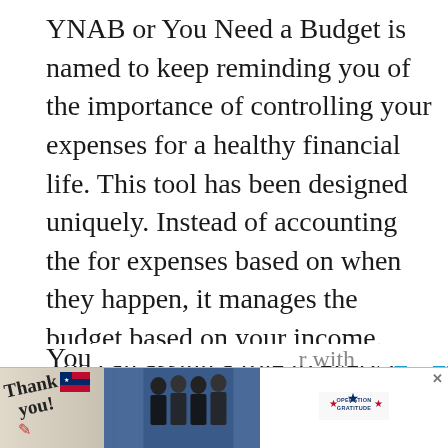YNAB or You Need a Budget is named to keep reminding you of the importance of controlling your expenses for a healthy financial life. This tool has been designed uniquely. Instead of accounting the for expenses based on when they happen, it manages the budget based on your income.
You can assign a role to every dollar that you earn by earmarking it towards specific purposes of expenses or savings. This way you can first pay yourself towards savings and then allocate the balance money for expenses.
[Figure (screenshot): Advertisement banner at bottom: 'Thank you!' with Operation Gratitude logo and image of firefighters/military personnel]